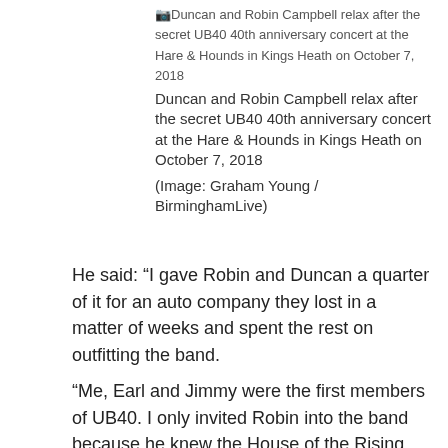[img] Duncan and Robin Campbell relax after the secret UB40 40th anniversary concert at the Hare & Hounds in Kings Heath on October 7, 2018
Duncan and Robin Campbell relax after the secret UB40 40th anniversary concert at the Hare & Hounds in Kings Heath on October 7, 2018
(Image: Graham Young / BirminghamLive)
He said: “I gave Robin and Duncan a quarter of it for an auto company they lost in a matter of weeks and spent the rest on outfitting the band.
“Me, Earl and Jimmy were the first members of UB40. I only invited Robin into the band because he knew the House of the Rising Sun chords. ”